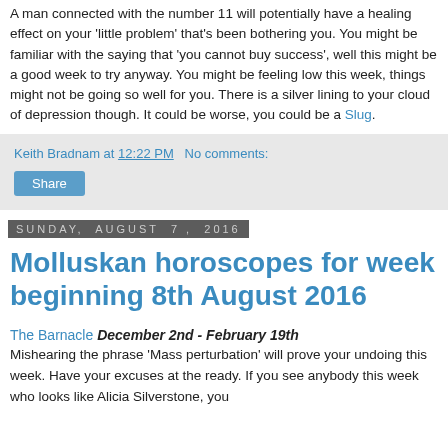A man connected with the number 11 will potentially have a healing effect on your 'little problem' that's been bothering you. You might be familiar with the saying that 'you cannot buy success', well this might be a good week to try anyway. You might be feeling low this week, things might not be going so well for you. There is a silver lining to your cloud of depression though. It could be worse, you could be a Slug.
Keith Bradnam at 12:22 PM   No comments:
Share
Sunday, August 7, 2016
Molluskan horoscopes for week beginning 8th August 2016
The Barnacle December 2nd - February 19th
Mishearing the phrase 'Mass perturbation' will prove your undoing this week. Have your excuses at the ready. If you see anybody this week who looks like Alicia Silverstone, you